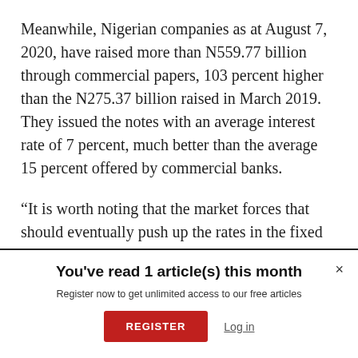Meanwhile, Nigerian companies as at August 7, 2020, have raised more than N559.77 billion through commercial papers, 103 percent higher than the N275.37 billion raised in March 2019. They issued the notes with an average interest rate of 7 percent, much better than the average 15 percent offered by commercial banks.
“It is worth noting that the market forces that should eventually push up the rates in the fixed income space are not doing so. Institutional investors seeking to
You've read 1 article(s) this month
Register now to get unlimited access to our free articles
REGISTER   Log in